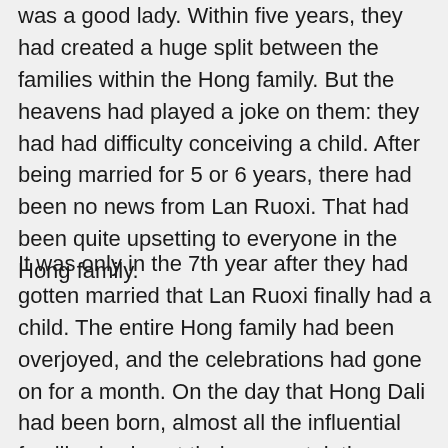was a good lady. Within five years, they had created a huge split between the families within the Hong family. But the heavens had played a joke on them: they had had difficulty conceiving a child. After being married for 5 or 6 years, there had been no news from Lan Ruoxi. That had been quite upsetting to everyone in the Hong family.
It was only in the 7th year after they had gotten married that Lan Ruoxi finally had a child. The entire Hong family had been overjoyed, and the celebrations had gone on for a month. On the day that Hong Dali had been born, almost all the influential families had sent their congratulations. Everyone under the Hong family regarded Hong Dali as a lucky child. Almost everyone had given him their most humble smile,